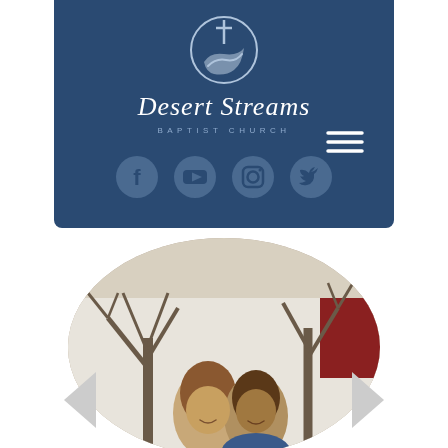[Figure (logo): Desert Streams Baptist Church logo — circular emblem with cross at top and flowing river/stream path, church name in script below, social media icons (Facebook, YouTube, Instagram, Twitter)]
[Figure (photo): Circular cropped photo of a smiling couple (man and woman) standing outdoors in front of bare winter trees and a white building]
[Figure (other): Navigation arrows (left < and right >) for a carousel slider, shown at the bottom of the page]